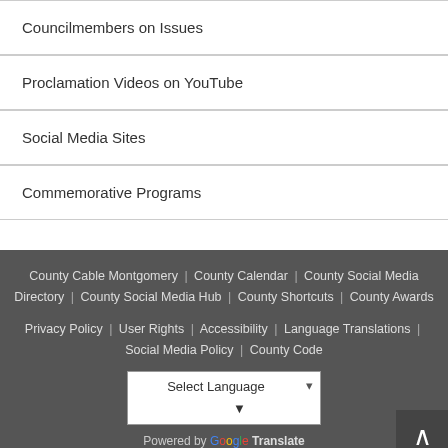Councilmembers on Issues
Proclamation Videos on YouTube
Social Media Sites
Commemorative Programs
County Cable Montgomery | County Calendar | County Social Media Directory | County Social Media Hub | County Shortcuts | County Awards
Privacy Policy | User Rights | Accessibility | Language Translations | Social Media Policy | County Code
Select Language
Powered by Google Translate